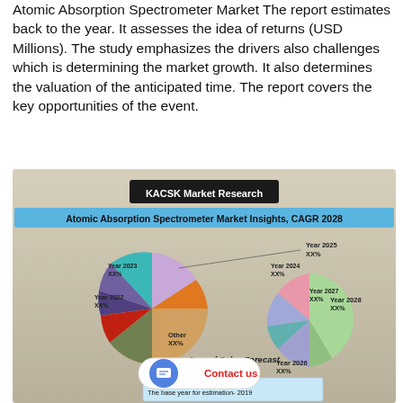Atomic Absorption Spectrometer Market The report estimates back to the year. It assesses the idea of returns (USD Millions). The study emphasizes the drivers also challenges which is determining the market growth. It also determines the valuation of the anticipated time. The report covers the key opportunities of the event.
[Figure (infographic): KACSK Market Research infographic showing Atomic Absorption Spectrometer Market Insights, CAGR 2028. Contains two pie charts labeled 'Annual Sales Forecast' with segments for Year 2022 XX%, Year 2023 XX%, Year 2024 XX%, Year 2025 XX%, Other XX% (left pie) and Year 2026 XX%, Year 2027 XX%, Year 2028 XX% (right pie). Bottom legend: Historical data- 2016 to 2018, The base year for estimation- 2019, Forecast period- 2020 to 2028. Also shows 'Contact us' overlay with chat icon.]